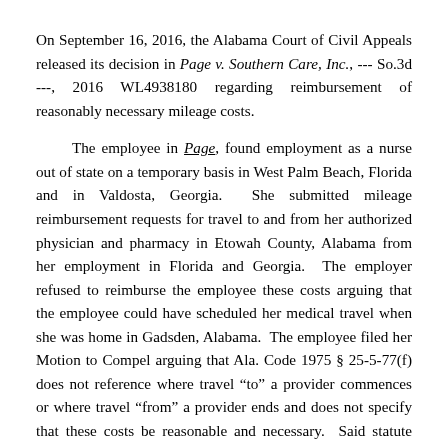On September 16, 2016, the Alabama Court of Civil Appeals released its decision in Page v. Southern Care, Inc., --- So.3d ---, 2016 WL4938180 regarding reimbursement of reasonably necessary mileage costs.
The employee in Page, found employment as a nurse out of state on a temporary basis in West Palm Beach, Florida and in Valdosta, Georgia. She submitted mileage reimbursement requests for travel to and from her authorized physician and pharmacy in Etowah County, Alabama from her employment in Florida and Georgia. The employer refused to reimburse the employee these costs arguing that the employee could have scheduled her medical travel when she was home in Gadsden, Alabama. The employee filed her Motion to Compel arguing that Ala. Code 1975 § 25-5-77(f) does not reference where travel “to” a provider commences or where travel “from” a provider ends and does not specify that these costs be reasonable and necessary. Said statute reads as follows: “The employer shall pay mileage costs to and from medical and rehabilitation providers at the same rate as provided by law for official state travel.” The trial court entered a judgment finding in